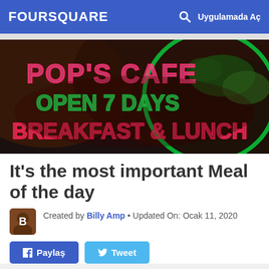FOURSQUARE  Uygulamada Aç
[Figure (photo): Neon sign of Pop's Cafe showing 'OPEN 7 DAYS BREAKFAST & LUNCH' with colorful neon lights on a dark background with plants visible]
It's the most important Meal of the day
Created by Billy Amp • Updated On: Ocak 11, 2020
Paylaş  Tweet